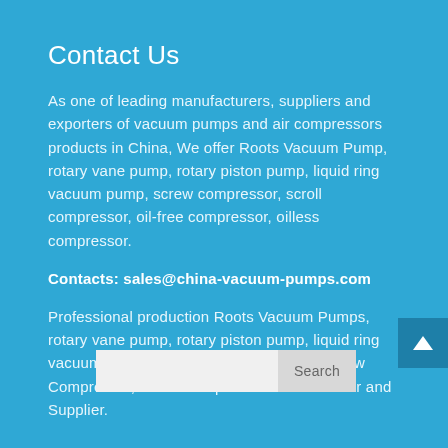Contact Us
As one of leading manufacturers, suppliers and exporters of vacuum pumps and air compressors products in China, We offer Roots Vacuum Pump, rotary vane pump, rotary piston pump, liquid ring vacuum pump, screw compressor, scroll compressor, oil-free compressor, oilless compressor.
Contacts: sales@china-vacuum-pumps.com
Professional production Roots Vacuum Pumps, rotary vane pump, rotary piston pump, liquid ring vacuum pump, Oil-free Air Compressor, Screw Compressor, Scroll Compressor Manufacturer and Supplier.
Search